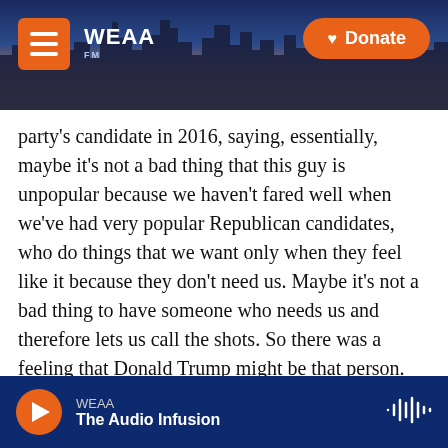[Figure (screenshot): WEAA radio station website header banner with city skyline background, hamburger menu button in orange, WEAA logo, and orange Donate button]
party's candidate in 2016, saying, essentially, maybe it's not a bad thing that this guy is unpopular because we haven't fared well when we've had very popular Republican candidates, who do things that we want only when they feel like it because they don't need us. Maybe it's not a bad thing to have someone who needs us and therefore lets us call the shots. So there was a feeling that Donald Trump might be that person.
GROSS: Let's take a short break here, and then we'll talk some more. If you're just joining us, my guest is Mary Ziegler, who's written several books about the
WEAA — The Audio Infusion